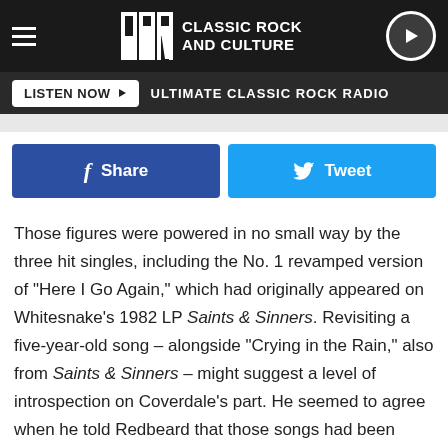UCR Classic Rock and Culture
LISTEN NOW ▶  ULTIMATE CLASSIC ROCK RADIO
[Figure (other): Facebook Share and Twitter Tweet social sharing buttons]
Those figures were powered in no small way by the three hit singles, including the No. 1 revamped version of "Here I Go Again," which had originally appeared on Whitesnake's 1982 LP Saints & Sinners. Revisiting a five-year-old song – alongside "Crying in the Rain," also from Saints & Sinners – might suggest a level of introspection on Coverdale's part. He seemed to agree when he told Redbeard that those songs had been "documenting professional dissatisfaction and private sadness."